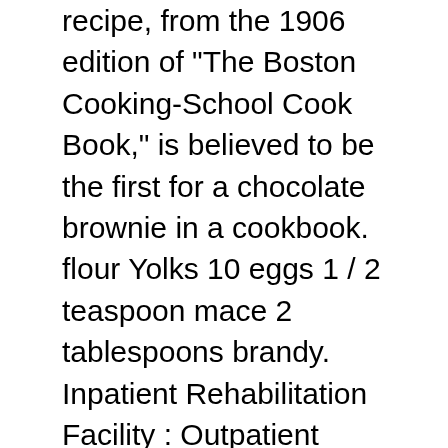recipe, from the 1906 edition of "The Boston Cooking-School Cook Book," is believed to be the first for a chocolate brownie in a cookbook. flour Yolks 10 eggs 1 / 2 teaspoon mace 2 tablespoons brandy. Inpatient Rehabilitation Facility : Outpatient Rehabilitation Facilities, Racism And Its Effects On African Americans, Symptoms And Treatment Of A Kidney Disease, Analysis Of The Article ' Legal Drugs Unlikely Foster Nation Of Zombies ' By Stephan Chapman, Health Care Reform And The Affordable Care Act, Narrative Of The South During The Climax Of Slavery, Diminished Responsibility Of A Brisk Wind Run, Global Warming And Its Effect On The Environment, Disadvantages Of Using The Internet Too Much...